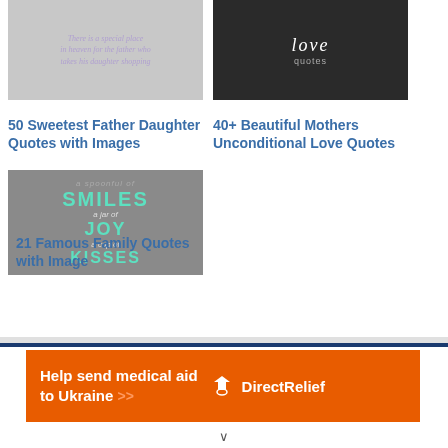[Figure (photo): Black and white photo of father and daughter shopping, with italic purple text overlay quote about father-daughter shopping]
50 Sweetest Father Daughter Quotes with Images
[Figure (photo): Black and white photo with 'love' text overlay, mothers unconditional love theme]
40+ Beautiful Mothers Unconditional Love Quotes
[Figure (photo): Gray background with teal and white text: a spoonful of SMILES a jar of JOY a cup of KISSES]
21 Famous Family Quotes with Image
[Figure (other): Direct Relief advertisement banner: Help send medical aid to Ukraine with orange background and DirectRelief logo]